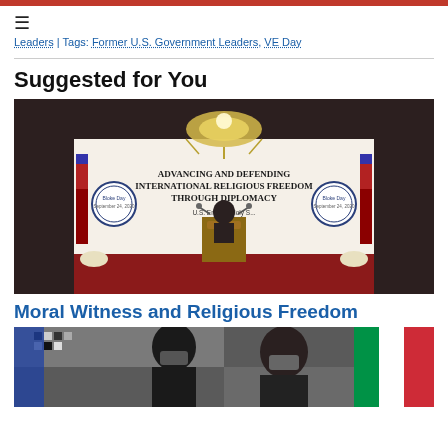≡
Leaders | Tags: Former U.S. Government Leaders, VE Day
Suggested for You
[Figure (photo): A speaker at a podium at an event titled 'Advancing and Defending International Religious Freedom Through Diplomacy' at the U.S. Embassy to the Holy See, with American flags and medallion logos on either side, large chandelier above.]
Moral Witness and Religious Freedom
[Figure (photo): Two men wearing masks meeting, with an Italian flag visible in the background, in front of a mosaic wall.]